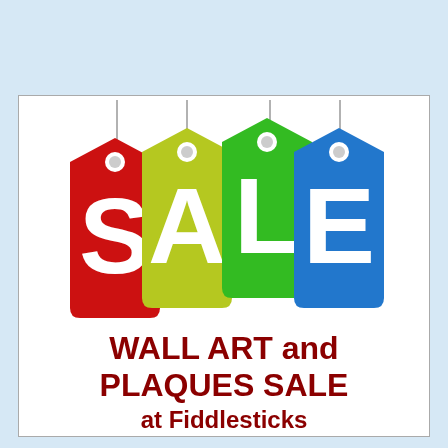[Figure (illustration): Four colorful price/sale tags hanging by strings: red, yellow-green, bright green, and blue, each with a letter spelling SALE in white bold text.]
WALL ART and PLAQUES SALE at Fiddlesticks